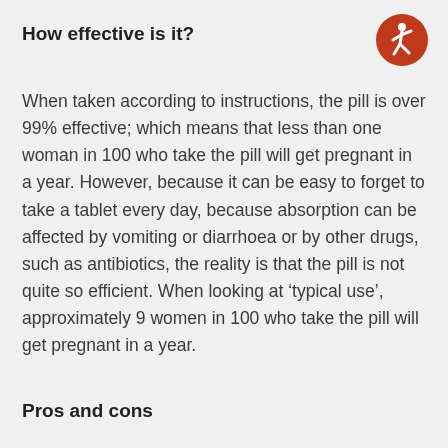How effective is it?
[Figure (illustration): Orange circular accessibility icon with a white human figure in motion]
When taken according to instructions, the pill is over 99% effective; which means that less than one woman in 100 who take the pill will get pregnant in a year. However, because it can be easy to forget to take a tablet every day, because absorption can be affected by vomiting or diarrhoea or by other drugs, such as antibiotics, the reality is that the pill is not quite so efficient. When looking at ‘typical use’, approximately 9 women in 100 who take the pill will get pregnant in a year.
Pros and cons